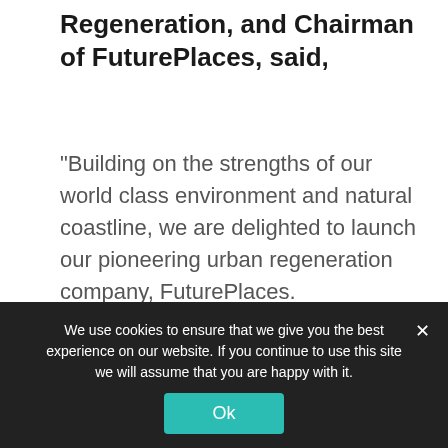Regeneration, and Chairman of FuturePlaces, said,
“Building on the strengths of our world class environment and natural coastline, we are delighted to launch our pioneering urban regeneration company, FuturePlaces.
“We promised we would move at pace with our Big Plan ambitions and within six months of setting the council’s budget – earmarking an additional £1.75million to drive forward regeneration – we have brought in some of the UK’s leading talent in placemaking to create the
We use cookies to ensure that we give you the best experience on our website. If you continue to use this site we will assume that you are happy with it.